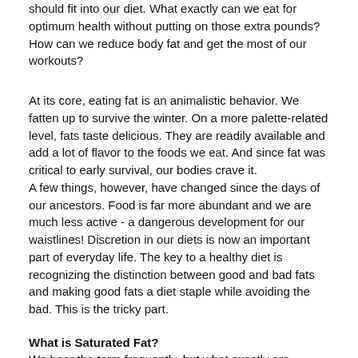should fit into our diet.  What exactly can we eat for optimum health without putting on those extra pounds?  How can we reduce body fat and get the most of our workouts?
At its core, eating fat is an animalistic behavior. We fatten up to survive the winter. On a more palette-related level, fats taste delicious.  They are readily available and add a lot of flavor to the foods we eat.  And since fat was critical to early survival, our bodies crave it.
A few things, however, have changed since the days of our ancestors.  Food is far more abundant and we are much less active - a dangerous development for our waistlines!  Discretion in our diets is now an important part of everyday life. The key to a healthy diet is recognizing the distinction between good and bad fats and making good fats a diet staple while avoiding the bad. This is the tricky part.
What is Saturated Fat?
We hear the term frequently, but what exactly are saturated fats? Saturation is synonymous with words like loaded, full, or